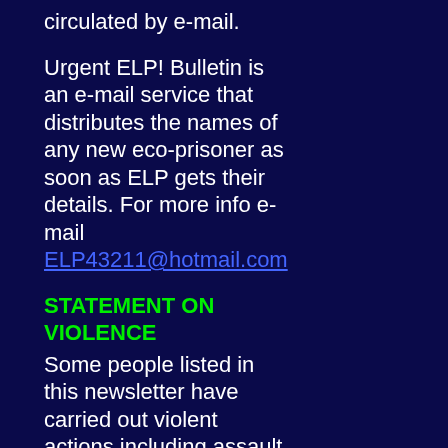circulated by e-mail.
Urgent ELP! Bulletin is an e-mail service that distributes the names of any new eco-prisoner as soon as ELP gets their details. For more info e-mail ELP43211@hotmail.com
STATEMENT ON VIOLENCE
Some people listed in this newsletter have carried out violent actions including assault and...